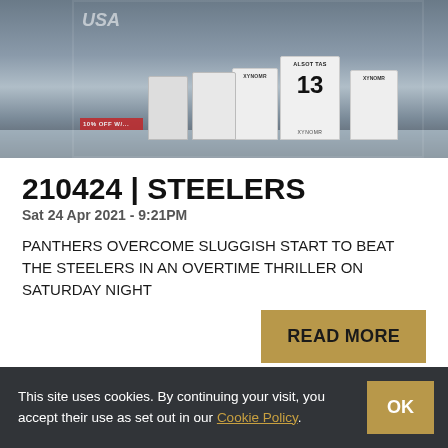[Figure (photo): Hockey players in white jerseys with number 13 (ALSOT/TAS) visible on ice rink]
210424 | STEELERS
Sat 24 Apr 2021 - 9:21PM
PANTHERS OVERCOME SLUGGISH START TO BEAT THE STEELERS IN AN OVERTIME THRILLER ON SATURDAY NIGHT
READ MORE
This site uses cookies. By continuing your visit, you accept their use as set out in our Cookie Policy.